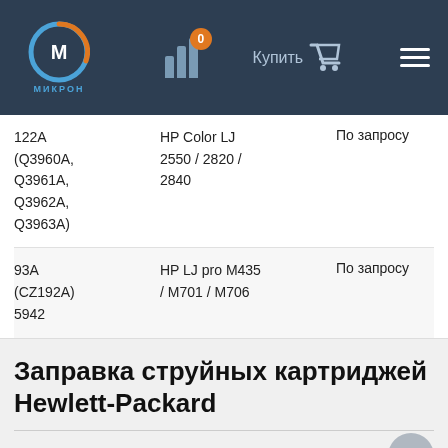[Figure (logo): МИКРОН logo with blue/orange circular icon and blue text МИКРОН]
МИКРОН — header navigation with cart (0 items), Купить, hamburger menu
| Модель | Модели принтеров | Цена |
| --- | --- | --- |
| 122A (Q3960A, Q3961A, Q3962A, Q3963A) | HP Color LJ 2550 / 2820 / 2840 | По запросу |
| 93A (CZ192A) 5942 | HP LJ pro M435 / M701 / M706 | По запросу |
Заправка струйных картриджей Hewlett-Packard
| Модель | Модели принтеров | Цена |
| --- | --- | --- |